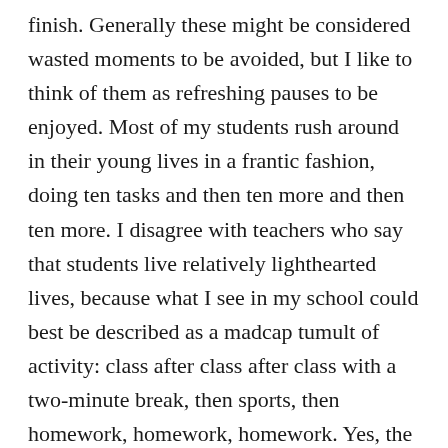finish. Generally these might be considered wasted moments to be avoided, but I like to think of them as refreshing pauses to be enjoyed. Most of my students rush around in their young lives in a frantic fashion, doing ten tasks and then ten more and then ten more. I disagree with teachers who say that students live relatively lighthearted lives, because what I see in my school could best be described as a madcap tumult of activity: class after class after class with a two-minute break, then sports, then homework, homework, homework. Yes, the young people do find time to twitter, text, email, and otherwise entertain themselves, but, even so, they are pretty much caught up in our modern maelstrom of non-stop doing. I doubt if they have many thirty-second periods in their days when they do absolutely nothing, so I consider it their good fortune that they occasionally come upon these small waterholes of